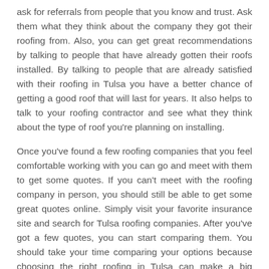ask for referrals from people that you know and trust. Ask them what they think about the company they got their roofing from. Also, you can get great recommendations by talking to people that have already gotten their roofs installed. By talking to people that are already satisfied with their roofing in Tulsa you have a better chance of getting a good roof that will last for years. It also helps to talk to your roofing contractor and see what they think about the type of roof you're planning on installing.
Once you've found a few roofing companies that you feel comfortable working with you can go and meet with them to get some quotes. If you can't meet with the roofing company in person, you should still be able to get some great quotes online. Simply visit your favorite insurance site and search for Tulsa roofing companies. After you've got a few quotes, you can start comparing them. You should take your time comparing your options because choosing the right roofing in Tulsa can make a big difference in the way that your home looks.